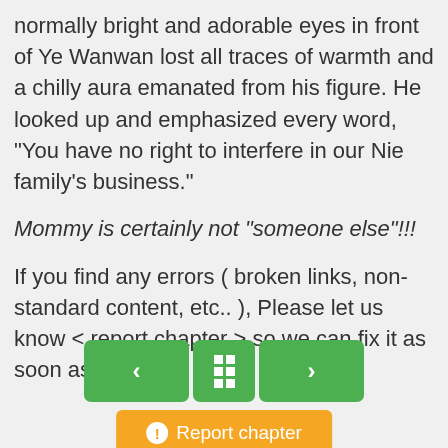normally bright and adorable eyes in front of Ye Wanwan lost all traces of warmth and a chilly aura emanated from his figure. He looked up and emphasized every word, “You have no right to interfere in our Nie family’s business.”
Mommy is certainly not “someone else”!!!
If you find any errors ( broken links, non-standard content, etc.. ), Please let us know < report chapter > so we can fix it as soon as possible.
[Figure (other): Navigation buttons row: left arrow (green), menu grid (green), right arrow (green), and orange Report chapter button below]
[Figure (other): Partial spinner/loading icon at bottom left]